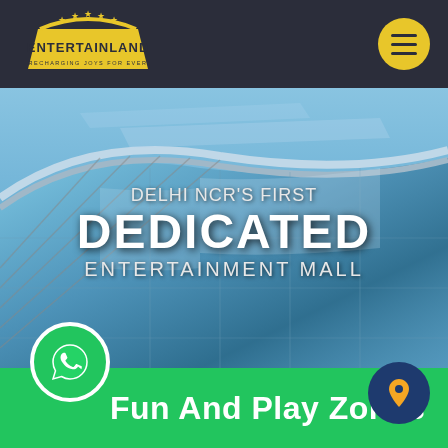[Figure (logo): Entertainland logo with stars and arch, tagline 'RECHARGING JOYS FOR EVER']
[Figure (photo): Modern glass-facade building with curved roof structure against blue sky — Delhi NCR entertainment mall exterior]
DELHI NCR'S FIRST DEDICATED ENTERTAINMENT MALL
Fun And Play Zones